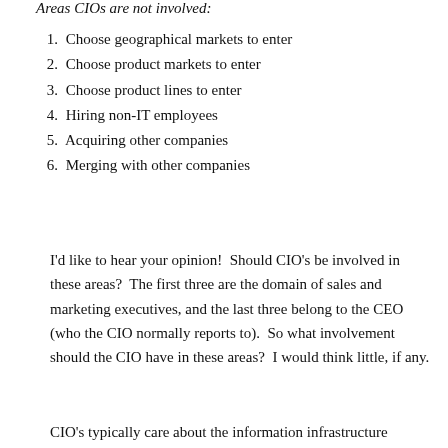Areas CIOs are not involved:
1. Choose geographical markets to enter
2. Choose product markets to enter
3. Choose product lines to enter
4. Hiring non-IT employees
5. Acquiring other companies
6. Merging with other companies
I'd like to hear your opinion!  Should CIO's be involved in these areas?  The first three are the domain of sales and marketing executives, and the last three belong to the CEO (who the CIO normally reports to).  So what involvement should the CIO have in these areas?  I would think little, if any.
CIO's typically care about the information infrastructure